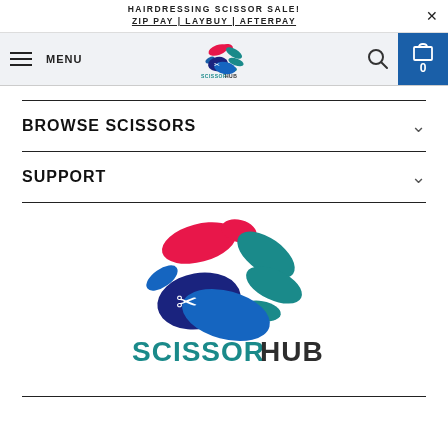HAIRDRESSING SCISSOR SALE! ZIP PAY | LAYBUY | AFTERPAY
[Figure (logo): Scissor Hub navigation logo - small version in nav bar]
BROWSE SCISSORS
SUPPORT
[Figure (logo): Scissor Hub large logo with colorful oval shapes (pink, teal, blue, dark blue) with scissors icon, and text SCISSOR HUB below]